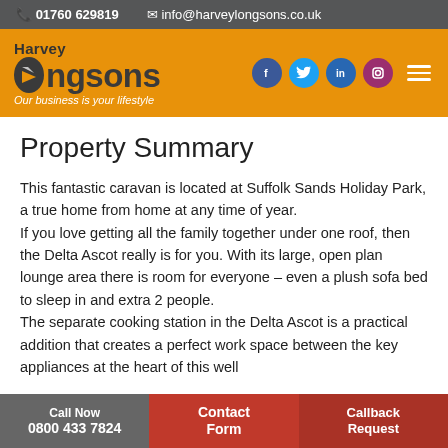01760 629819   info@harveylongsons.co.uk
[Figure (logo): Harvey Longsons logo with bird icon, orange background, tagline: Our business is your lifestyle, social media icons (Facebook, Twitter, LinkedIn, Instagram), hamburger menu icon]
Property Summary
This fantastic caravan is located at Suffolk Sands Holiday Park, a true home from home at any time of year. If you love getting all the family together under one roof, then the Delta Ascot really is for you. With its large, open plan lounge area there is room for everyone – even a plush sofa bed to sleep in and extra 2 people. The separate cooking station in the Delta Ascot is a practical addition that creates a perfect work space between the key appliances at the heart of this well
Call Now 0800 433 7824   Contact Form   Callback Request